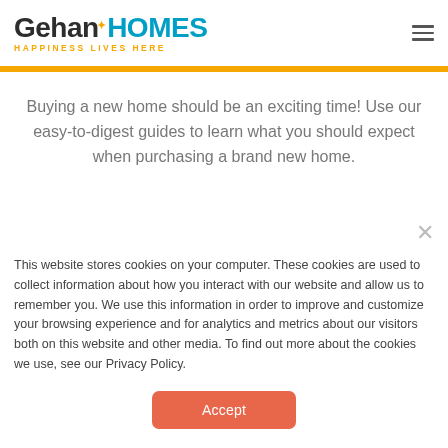Gehan HOMES — HAPPINESS LIVES HERE
Buying a new home should be an exciting time! Use our easy-to-digest guides to learn what you should expect when purchasing a brand new home.
This website stores cookies on your computer. These cookies are used to collect information about how you interact with our website and allow us to remember you. We use this information in order to improve and customize your browsing experience and for analytics and metrics about our visitors both on this website and other media. To find out more about the cookies we use, see our Privacy Policy.